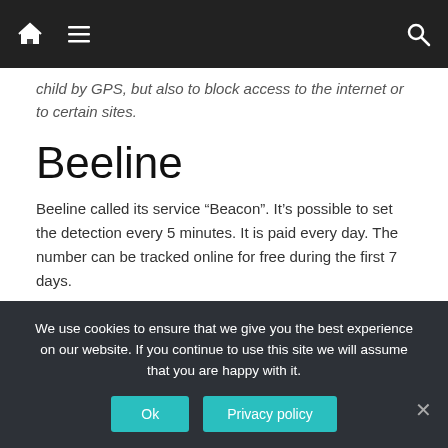Navigation bar with home, menu, and search icons
child by GPS, but also to block access to the internet or to certain sites.
Beeline
Beeline called its service “Beacon”. It’s possible to set the detection every 5 minutes. It is paid every day. The number can be tracked online for free during the first 7 days.
Megafon
We use cookies to ensure that we give you the best experience on our website. If you continue to use this site we will assume that you are happy with it.